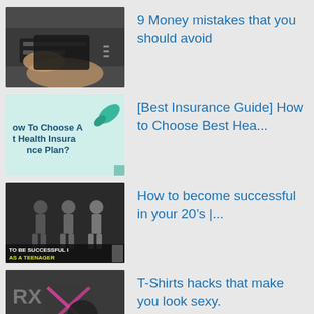[Figure (screenshot): Thumbnail image of hands holding a dark wallet]
9 Money mistakes that you should avoid
[Figure (screenshot): Thumbnail: 'How To Choose Best Health Insurance Plan?' on light blue background]
[Best Insurance Guide] How to Choose Best Hea...
[Figure (screenshot): Thumbnail: silhouettes with text 'TO BE SUCCESSFUL AS A TEENAGER']
How to become successful in your 20’s |...
[Figure (screenshot): Thumbnail: man in black shirt with RX logo and checkmark]
T-Shirts hacks that make you look sexy.